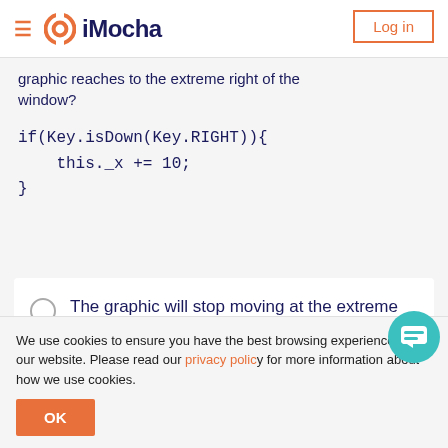iMocha — Log in
graphic reaches to the extreme right of the window?
The graphic will stop moving at the extreme right
We use cookies to ensure you have the best browsing experience on our website. Please read our privacy policy for more information about how we use cookies.
OK